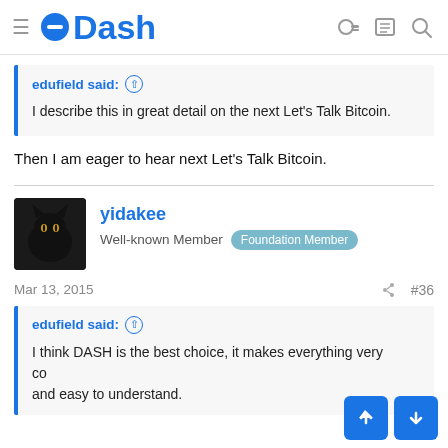Dash
edufield said: ↑
I describe this in great detail on the next Let's Talk Bitcoin.
Then I am eager to hear next Let's Talk Bitcoin.
yidakee
Well-known Member  Foundation Member
Mar 13, 2015   #36
edufield said: ↑
I think DASH is the best choice, it makes everything very convenient and easy to understand.